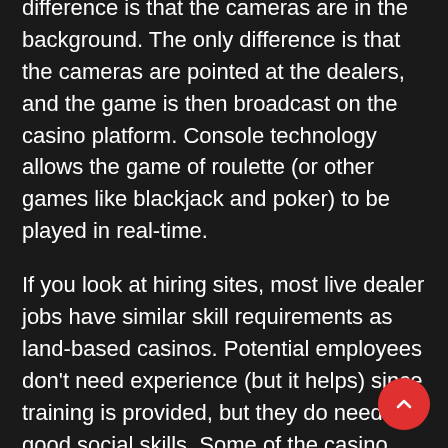difference is that the cameras are in the background. The only difference is that the cameras are pointed at the dealers, and the game is then broadcast on the casino platform. Console technology allows the game of roulette (or other games like blackjack and poker) to be played in real-time.
If you look at hiring sites, most live dealer jobs have similar skill requirements as land-based casinos. Potential employees don't need experience (but it helps) since training is provided, but they do need good social skills. Some of the casino sites in Canada will require bilingual candidates who are fluent in